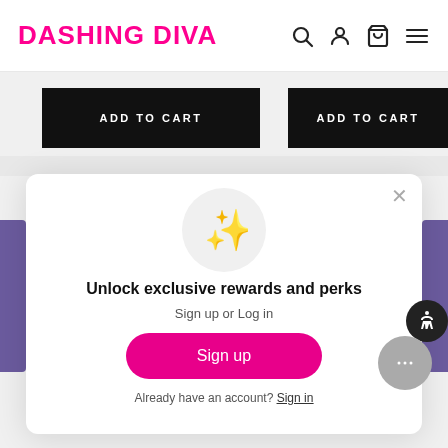DASHING DIVA
[Figure (screenshot): Navigation bar with search, account, cart, and menu icons]
[Figure (screenshot): Two ADD TO CART buttons on black background]
[Figure (screenshot): Modal popup with sparkle emoji, unlock rewards message, sign up and log in options]
Unlock exclusive rewards and perks
Sign up or Log in
Sign up
Already have an account? Sign in